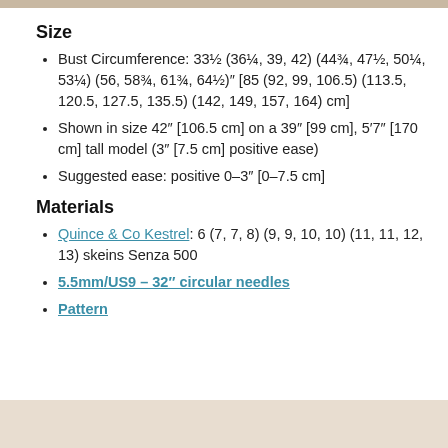Size
Bust Circumference: 33½ (36¼, 39, 42) (44¾, 47½, 50¼, 53¼) (56, 58¾, 61¾, 64½)″ [85 (92, 99, 106.5) (113.5, 120.5, 127.5, 135.5) (142, 149, 157, 164) cm]
Shown in size 42″ [106.5 cm] on a 39″ [99 cm], 5′7″ [170 cm] tall model (3″ [7.5 cm] positive ease)
Suggested ease: positive 0–3″ [0–7.5 cm]
Materials
Quince & Co Kestrel: 6 (7, 7, 8) (9, 9, 10, 10) (11, 11, 12, 13) skeins Senza 500
5.5mm/US9 – 32″ circular needles
Pattern